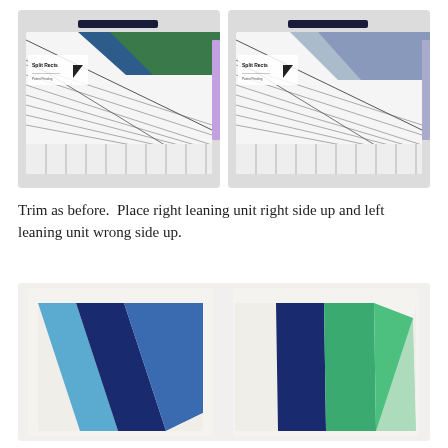[Figure (photo): Two side-by-side photos of a quilting ruler called 'Split Rects' placed on patterned fabric (left: green and blue, right: grey/blue), showing alignment marks and measurement lines.]
Trim as before.  Place right leaning unit right side up and left leaning unit wrong side up.
[Figure (photo): Two trimmed quilt units showing triangular shapes with blue, teal/green, and white dotted fabric pieces arranged in a V-shape pattern, one unit on each side.]